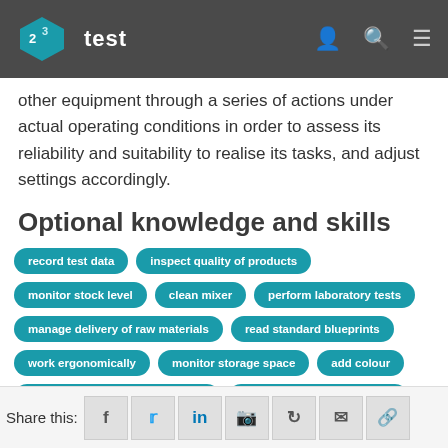123test
other equipment through a series of actions under actual operating conditions in order to assess its reliability and suitability to realise its tasks, and adjust settings accordingly.
Optional knowledge and skills
record test data
inspect quality of products
monitor stock level
clean mixer
perform laboratory tests
manage delivery of raw materials
read standard blueprints
work ergonomically
monitor storage space
add colour
wear appropriate protective gear
ensure stock storage safety
Share this: